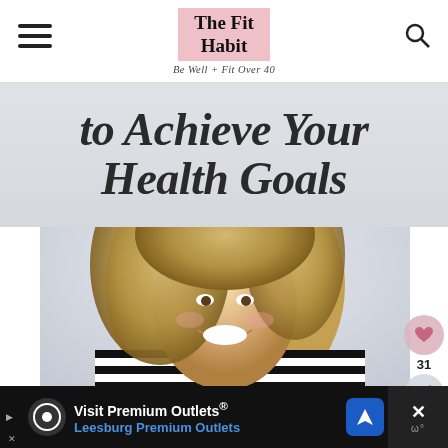The Fit Habit — Be Well + Fit Over 40
to Achieve Your Health Goals
[Figure (photo): Smiling blonde woman wearing a black and white striped top, photographed against a light grey background]
Visit Premium Outlets® Leesburg Premium Outlets